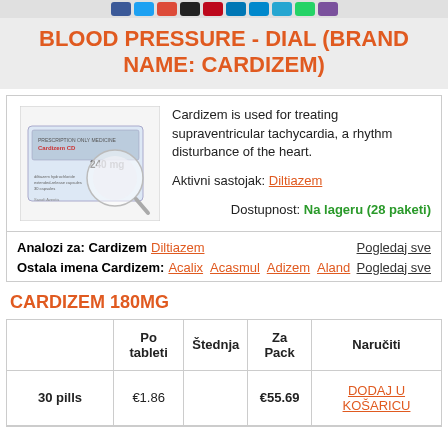Social share icons bar
BLOOD PRESSURE - DIAL (BRAND NAME: CARDIZEM)
Cardizem is used for treating supraventricular tachycardia, a rhythm disturbance of the heart.

Aktivni sastojak: Diltiazem

Dostupnost: Na lageru (28 paketi)
Analozi za: Cardizem   Diltiazem   Pogledaj sve
Ostala imena Cardizem:   Acalix   Acasmul   Adizem   Aland   Pogledaj sve
CARDIZEM 180MG
|  | Po tableti | Štednja | Za Pack | Naručiti |
| --- | --- | --- | --- | --- |
| 30 pills | €1.86 |  | €55.69 | DODAJ U KOŠARICU |